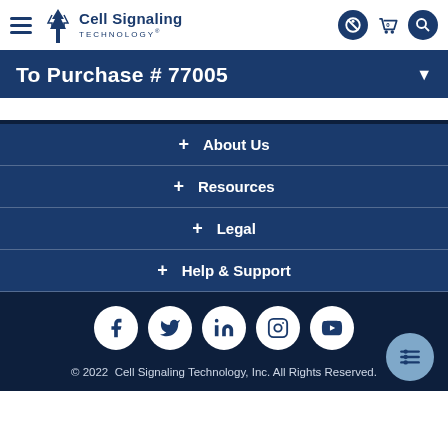Cell Signaling Technology
To Purchase # 77005
+ About Us
+ Resources
+ Legal
+ Help & Support
© 2022 Cell Signaling Technology, Inc. All Rights Reserved.